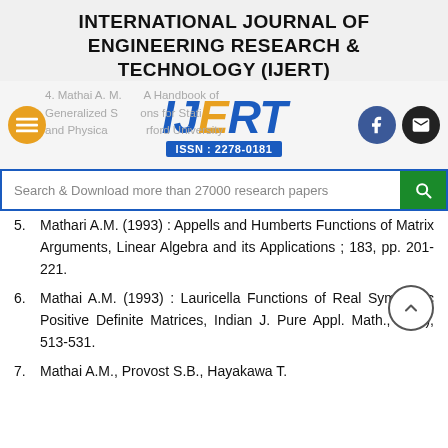INTERNATIONAL JOURNAL OF ENGINEERING RESEARCH & TECHNOLOGY (IJERT)
[Figure (logo): IJERT logo with ISSN: 2278-0181, navigation hamburger menu, Facebook icon, and email icon]
Search & Download more than 27000 research papers
5. Mathari A.M. (1993) : Appells and Humberts Functions of Matrix Arguments, Linear Algebra and its Applications ; 183, pp. 201-221.
6. Mathai A.M. (1993) : Lauricella Functions of Real Symmetric Positive Definite Matrices, Indian J. Pure Appl. Math., 24(9), 513-531.
7. Mathai A.M., Provost S.B., Hayakawa T.